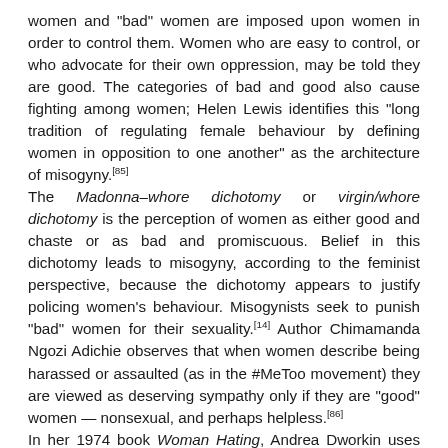women and "bad" women are imposed upon women in order to control them. Women who are easy to control, or who advocate for their own oppression, may be told they are good. The categories of bad and good also cause fighting among women; Helen Lewis identifies this "long tradition of regulating female behaviour by defining women in opposition to one another" as the architecture of misogyny.[85] The Madonna–whore dichotomy or virgin/whore dichotomy is the perception of women as either good and chaste or as bad and promiscuous. Belief in this dichotomy leads to misogyny, according to the feminist perspective, because the dichotomy appears to justify policing women's behaviour. Misogynists seek to punish "bad" women for their sexuality.[14] Author Chimamanda Ngozi Adichie observes that when women describe being harassed or assaulted (as in the #MeToo movement) they are viewed as deserving sympathy only if they are "good" women — nonsexual, and perhaps helpless.[86] In her 1974 book Woman Hating, Andrea Dworkin uses traditional fairy tales to illustrate misogyny. Fairy tales designate certain women as "good", for example Sleeping Beauty and Snow White, whose main virtue